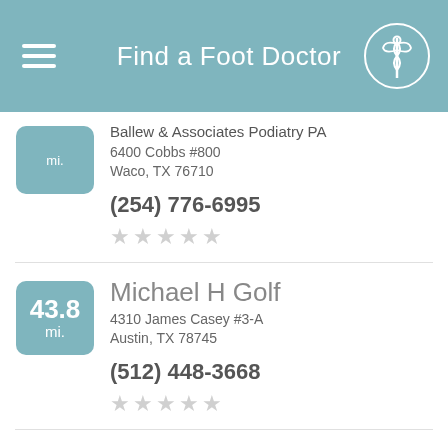Find a Foot Doctor
Ballew & Associates Podiatry PA
6400 Cobbs #800
Waco, TX 76710
(254) 776-6995
Michael H Golf
4310 James Casey #3-A
Austin, TX 78745
(512) 448-3668
43.8 mi.
Douglas J Grimm
Foot Associates of Central Texas LLC
1602 Lohman's Crossing
Austin, TX 7874...
36.5 mi.